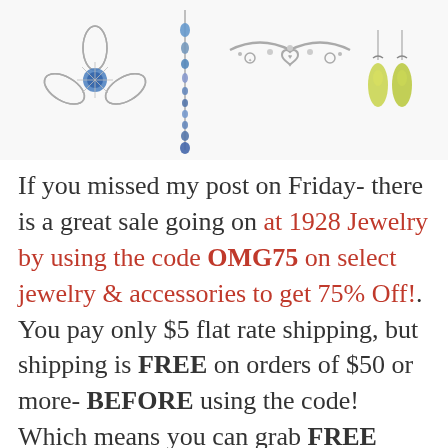[Figure (photo): Four pieces of jewelry on white background: a silver filigree flower brooch, a blue beaded dangle, a silver heart charm bracelet, and yellow-green teardrop crystal earrings]
If you missed my post on Friday- there is a great sale going on at 1928 Jewelry by using the code OMG75 on select jewelry & accessories to get 75% Off!. You pay only $5 flat rate shipping, but shipping is FREE on orders of $50 or more- BEFORE using the code! Which means you can grab FREE